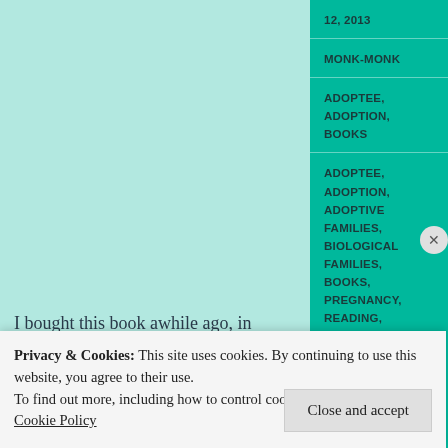12, 2013
MONK-MONK
ADOPTEE, ADOPTION, BOOKS
ADOPTEE, ADOPTION, ADOPTIVE FAMILIES, BIOLOGICAL FAMILIES, BOOKS, PREGNANCY, READING, READING TO TODDLERS, STORIES
I bought this book awhile ago, in hopes to start the readings early with Potamus. I also bought a book about having another baby, but loaned that to a friend, since there’s no need for me to read a story about something
Privacy & Cookies: This site uses cookies. By continuing to use this website, you agree to their use.
To find out more, including how to control cookies, see here: Cookie Policy
Close and accept